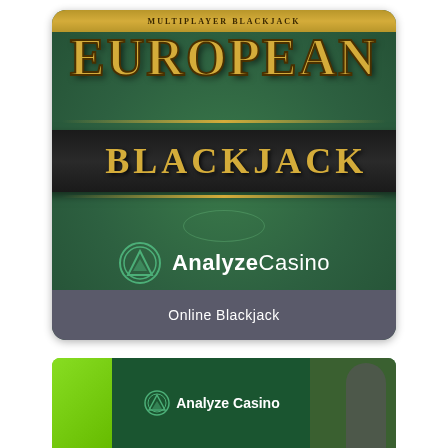[Figure (screenshot): European Blackjack game screenshot with green felt table background, gold 'EUROPEAN' text at top, dark ribbon banner with gold 'BLACKJACK' text, and AnalyzeCasino logo watermark in center. Gray footer bar reads 'Online Blackjack'.]
[Figure (screenshot): Partial screenshot of a second image at bottom showing green background with Analyze Casino logo text and a partial view of a person's head on the right side.]